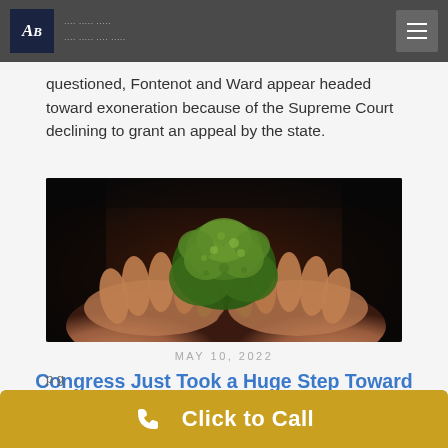Navigation bar with logo and menu
questioned, Fontenot and Ward appear headed toward exoneration because of the Supreme Court declining to grant an appeal by the state.
[Figure (photo): Hands holding cannabis/marijuana buds close-up photo with dark background]
MAY 10, 2022
Congress Just Took a Huge Step Toward Decriminalizing Marijuana
p g
Click to Call